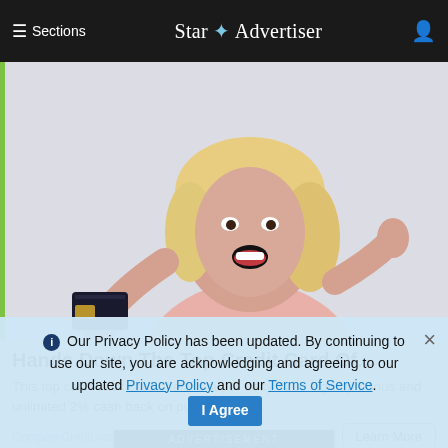≡ Sections  Star Advertiser
[Figure (photo): Smiling blonde woman in pink top holding a dark credit card up and making a fist pump gesture, on a light gray background]
Hands Down The Top Credit Card Of...
This top cash back card offers a super easy $200 sign-up bonus and unlimited 2% cash back on purchases, a...
CompareCredit.com | Sponsored
ADVERTISEMENT
ℹ Our Privacy Policy has been updated. By continuing to use our site, you are acknowledging and agreeing to our updated Privacy Policy and our Terms of Service. I Agree